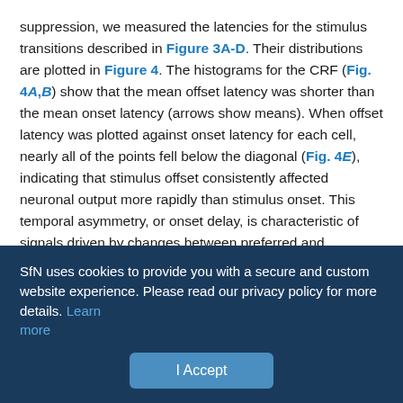suppression, we measured the latencies for the stimulus transitions described in Figure 3A-D. Their distributions are plotted in Figure 4. The histograms for the CRF (Fig. 4A,B) show that the mean offset latency was shorter than the mean onset latency (arrows show means). When offset latency was plotted against onset latency for each cell, nearly all of the points fell below the diagonal (Fig. 4E), indicating that stimulus offset consistently affected neuronal output more rapidly than stimulus onset. This temporal asymmetry, or onset delay, is characteristic of signals driven by changes between preferred and antipreferred stimuli in the CRF (Bair et al., 2002). However, the same comparison for the surround (Fig. 4C,D) indicates that suppressive modulation showed no such asymmetry in timing; the points in Figure 4F cluster around the diagonal. This
SfN uses cookies to provide you with a secure and custom website experience. Please read our privacy policy for more details. Learn more